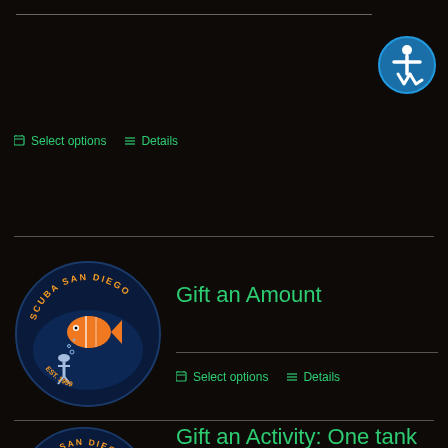[Figure (other): Accessibility icon - circle with wheelchair user symbol in white on blue background]
🛒 Select options  ≡ Details
[Figure (logo): Scuba San Diego circular logo with orange fish and scuba diver on dark blue background]
Gift an Amount
🛒 Select options  ≡ Details
[Figure (logo): Scuba San Diego circular logo with orange fish and scuba diver on dark blue background]
Gift an Activity: One tank guided